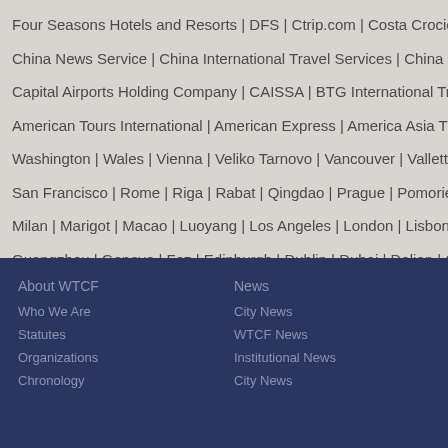Four Seasons Hotels and Resorts | DFS | Ctrip.com | Costa Crociere S.p.A
China News Service | China International Travel Services | China Daily | CY
Capital Airports Holding Company | CAISSA | BTG International Travel & Tour
American Tours International | American Express | America Asia Travel Cente
Washington | Wales | Vienna | Veliko Tarnovo | Vancouver | Valletta | To
San Francisco | Rome | Riga | Rabat | Qingdao | Prague | Pomorie | P
Milan | Marigot | Macao | Luoyang | Los Angeles | London | Lisbon | K
Guangzhou | Geneve | Fez | Edinburgh | Dublin | Dubai | Dalian | Cop
Boston | Berlin | Beijing | Barcelona | Bangkok | Bandung | Astana | A
About WTCF
Who We Are
Statutes
Organizations
Chronology
News
City News
WTCF News
Institutional News
City News